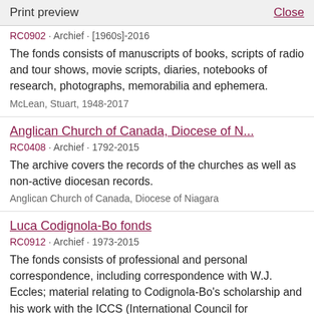Print preview   Close
RC0902 · Archief · [1960s]-2016
The fonds consists of manuscripts of books, scripts of radio and tour shows, movie scripts, diaries, notebooks of research, photographs, memorabilia and ephemera.
McLean, Stuart, 1948-2017
Anglican Church of Canada, Diocese of N...
RC0408 · Archief · 1792-2015
The archive covers the records of the churches as well as non-active diocesan records.
Anglican Church of Canada, Diocese of Niagara
Luca Codignola-Bo fonds
RC0912 · Archief · 1973-2015
The fonds consists of professional and personal correspondence, including correspondence with W.J. Eccles; material relating to Codignola-Bo's scholarship and his work with the ICCS (International Council for